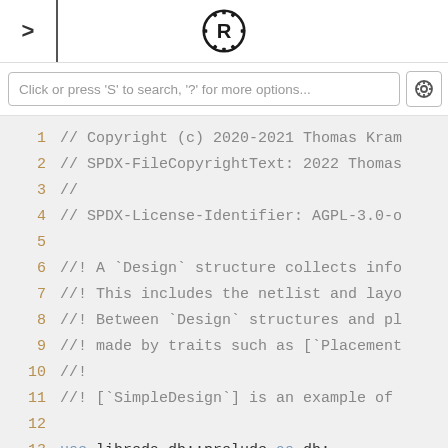[Figure (screenshot): Rust documentation browser UI with navigation arrow, Rust gear logo, and search bar]
Click or press 'S' to search, '?' for more options...
1  // Copyright (c) 2020-2021 Thomas Kram
2  // SPDX-FileCopyrightText: 2022 Thomas
3  //
4  // SPDX-License-Identifier: AGPL-3.0-o
5
6  //! A `Design` structure collects info
7  //! This includes the netlist and layo
8  //! Between `Design` structures and pl
9  //! made by traits such as [`Placement
10 //!
11 //! [`SimpleDesign`] is an example of
12
13 use libreda_db::prelude as db;